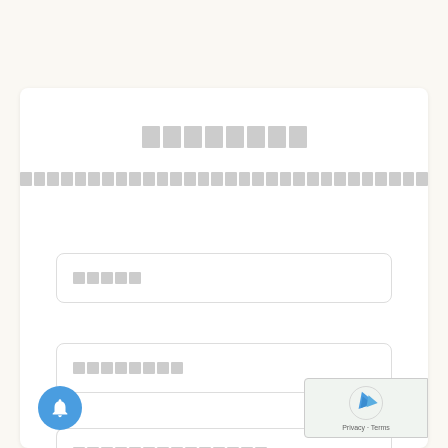[redacted/obscured title text]
[redacted/obscured subtitle text]
[input field placeholder 1]
[input field placeholder 2]
[input field placeholder 3]